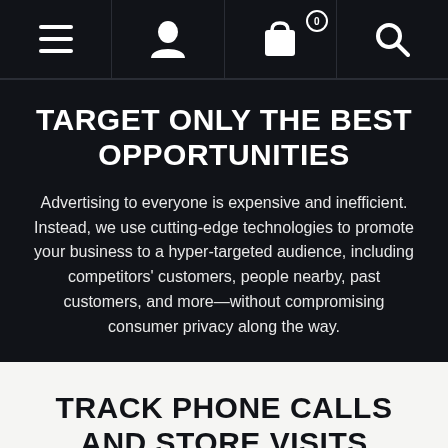[Figure (screenshot): Navigation bar with hamburger menu, user icon, shopping cart with badge showing 0, and search icon on dark background]
TARGET ONLY THE BEST OPPORTUNITIES
Advertising to everyone is expensive and inefficient. Instead, we use cutting-edge technologies to promote your business to a hyper-targeted audience, including competitors' customers, people nearby, past customers, and more—without compromising consumer privacy along the way.
TRACK PHONE CALLS AND STORE VISITS